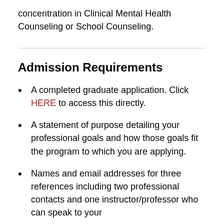concentration in Clinical Mental Health Counseling or School Counseling.
Admission Requirements
A completed graduate application. Click HERE to access this directly.
A statement of purpose detailing your professional goals and how those goals fit the program to which you are applying.
Names and email addresses for three references including two professional contacts and one instructor/professor who can speak to your